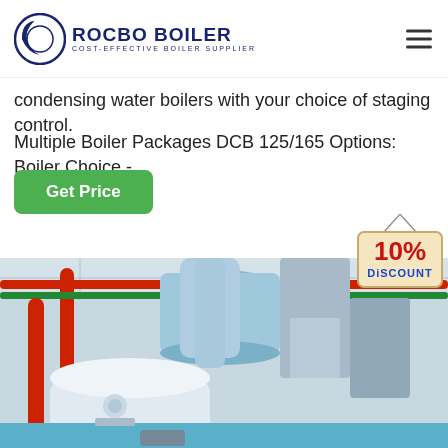[Figure (logo): Rocbo Boiler logo with circular emblem and text 'ROCBO BOILER - COST-EFFECTIVE BOILER SUPPLIER']
condensing water boilers with your choice of staging control.
Multiple Boiler Packages DCB 125/165 Options: Boiler Choice -...
Get Price
[Figure (illustration): 10% DISCOUNT badge/tag hanging from string]
[Figure (photo): Industrial boiler room interior showing large white boiler vessel with blue insulated pipes, red and green pipes on ceiling, metallic ductwork, and blue floor]